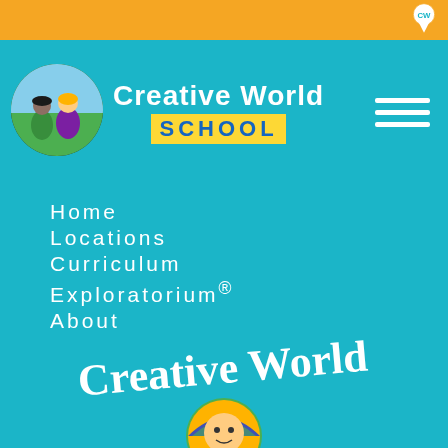Creative World School - navigation menu open
[Figure (logo): Creative World School logo with cartoon children in a circle and text 'Creative World School']
Home
Locations
Curriculum
Exploratorium®
About
Blog
Own a School
Join Our Team
[Figure (logo): Creative World logo text and mascot character at bottom of page]